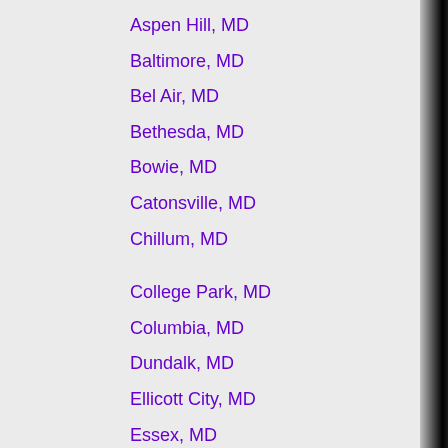Aspen Hill, MD
Baltimore, MD
Bel Air, MD
Bethesda, MD
Bowie, MD
Catonsville, MD
Chillum, MD
College Park, MD
Columbia, MD
Dundalk, MD
Ellicott City, MD
Essex, MD
Frederick, MD
Gaithersburg, MD